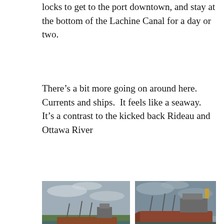locks to get to the port downtown, and stay at the bottom of the Lachine Canal for a day or two.
There’s a bit more going on around here. Currents and ships.  It feels like a seaway.  It’s a contrast to the kicked back Rideau and Ottawa River
[Figure (photo): Large cargo ship on a wide waterway with green trees and overcast sky, viewed from another vessel]
[Figure (photo): Large cargo ship on the St. Lawrence Seaway at dusk/evening with industrial structures visible]
[Figure (photo): Historic stone building near waterway under overcast sky]
[Figure (photo): Silhouette of buildings and church steeple against grey sky near waterway]